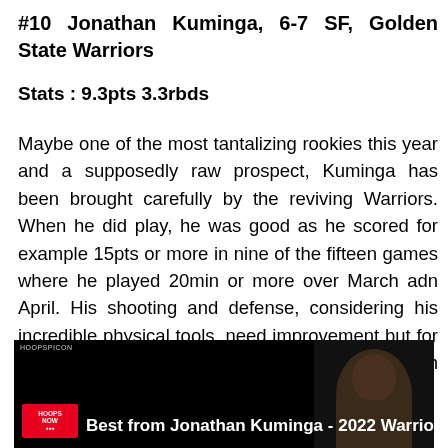#10 Jonathan Kuminga, 6-7 SF, Golden State Warriors
Stats : 9.3pts 3.3rbds
Maybe one of the most tantalizing rookies this year and a supposedly raw prospect, Kuminga has been brought carefully by the reviving Warriors. When he did play, he was good as he scored for example 15pts or more in nine of the fifteen games where he played 20min or more over March adn April. His shooting and defense, considering his incredible physical tools, need improvement but for the Warriors may have hit the jackpot with their 7th pick of the 2021 NBA Draft.
[Figure (screenshot): Video thumbnail showing Jonathan Kuminga with text 'Best from Jonathan Kuminga - 2022 Warriors', Hoopspicon branding and a red logo in the bottom left corner]